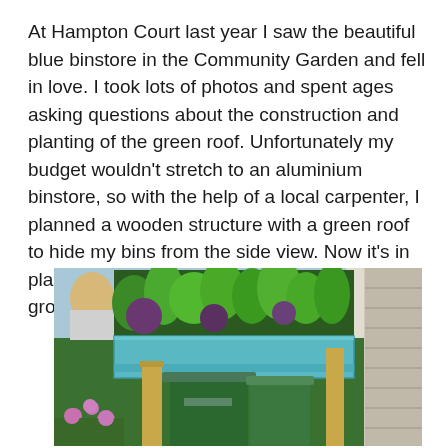At Hampton Court last year I saw the beautiful blue binstore in the Community Garden and fell in love. I took lots of photos and spent ages asking questions about the construction and planting of the green roof. Unfortunately my budget wouldn't stretch to an aluminium binstore, so with the help of a local carpenter, I planned a wooden structure with a green roof to hide my bins from the side view. Now it's in place and the next task is to decide on the growing medium and plant it up.
[Figure (photo): Photograph of a blue/teal wooden binstore structure with a green roof planted with leafy plants, concealing green wheelie bins. A stone wall is visible on the right side, a wooden post on the left, and flowering plants at the bottom left. A person's head is partially visible at top left.]